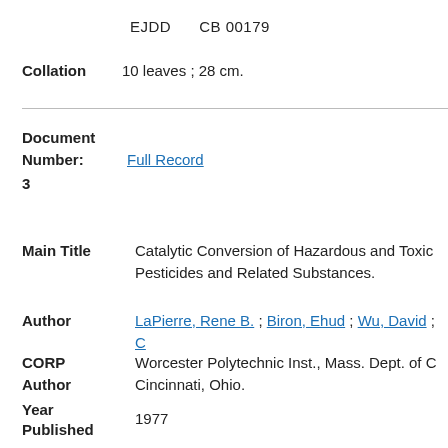EJDD    CB 00179
Collation: 10 leaves ; 28 cm.
Document Number: Full Record
3
Main Title: Catalytic Conversion of Hazardous and Toxic Pesticides and Related Substances.
Author: LaPierre, Rene B. ; Biron, Ehud ; Wu, David ; C
CORP Author: Worcester Polytechnic Inst., Mass. Dept. of C Cincinnati, Ohio.
Year Published: 1977